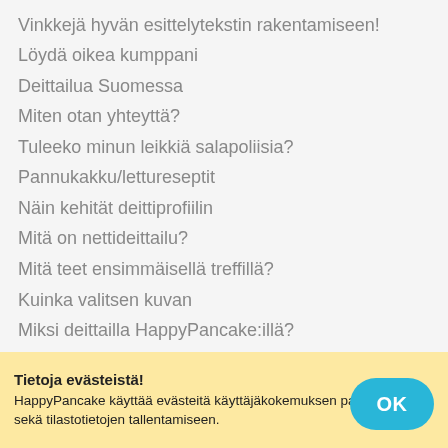Vinkkejä hyvän esittelytekstin rakentamiseen!
Löydä oikea kumppani
Deittailua Suomessa
Miten otan yhteyttä?
Tuleeko minun leikkiä salapoliisia?
Pannukakku/lettureseptit
Näin kehität deittiprofiilin
Mitä on nettideittailu?
Mitä teet ensimmäisellä treffillä?
Kuinka valitsen kuvan
Miksi deittailla HappyPancake:illä?
Tietoja evästeistä! HappyPancake käyttää evästeitä käyttäjäkokemuksen parantamiseen sekä tilastotietojen tallentamiseen.